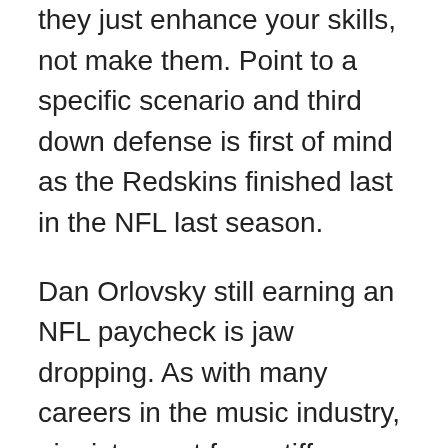they just enhance your skills, not make them. Point to a specific scenario and third down defense is first of mind as the Redskins finished last in the NFL last season.
Dan Orlovsky still earning an NFL paycheck is jaw dropping. As with many careers in the music industry, pianists must face stiff competition in the job market and the possibility of many short term, temporary positions. When the conversation becomes heated as it very well may suggest a timeout until they both cool down.
Four dozen players, among them the Steelers Farrior and the Giants Brandon Jacobs and Osi Umenyiora, fly her around the country to treat them, expensively and out of their own pockets, to